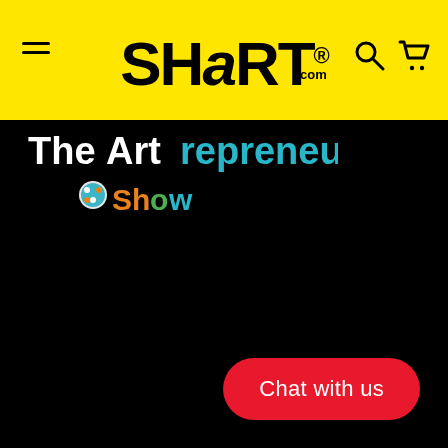SHART.com
[Figure (logo): The Artrepreneur Show logo in white, teal and green text on black background]
Chat with us